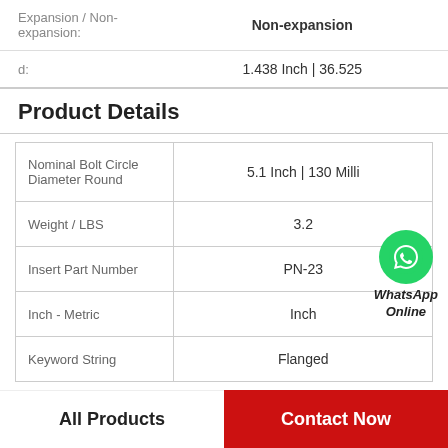Expansion / Non-expansion: Non-expansion
d: 1.438 Inch | 36.525
Product Details
|  |  |
| --- | --- |
| Nominal Bolt Circle Diameter Round | 5.1 Inch | 130 Milli |
| Weight / LBS | 3.2 |
| Insert Part Number | PN-23 |
| Inch - Metric | Inch |
| Keyword String | Flanged |
[Figure (other): WhatsApp Online contact badge with green phone icon]
All Products
Contact Now